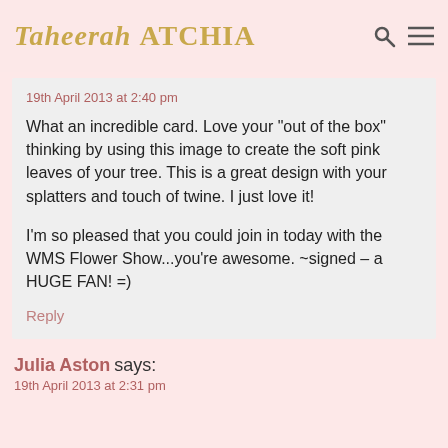Taheerah ATCHIA
19th April 2013 at 2:40 pm
What an incredible card. Love your "out of the box" thinking by using this image to create the soft pink leaves of your tree. This is a great design with your splatters and touch of twine. I just love it!

I'm so pleased that you could join in today with the WMS Flower Show...you're awesome. ~signed – a HUGE FAN! =)
Reply
Julia Aston says:
19th April 2013 at 2:31 pm